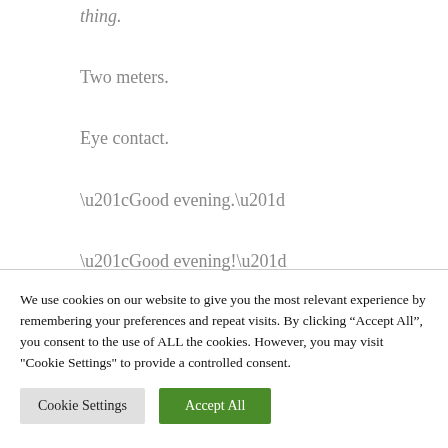thing.
Two meters.
Eye contact.
“Good evening.”
“Good evening!”
We use cookies on our website to give you the most relevant experience by remembering your preferences and repeat visits. By clicking “Accept All”, you consent to the use of ALL the cookies. However, you may visit "Cookie Settings" to provide a controlled consent.